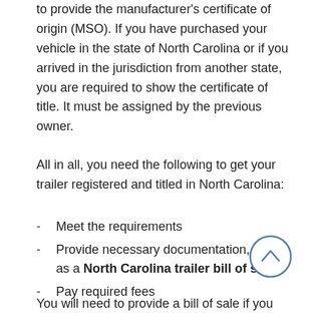to provide the manufacturer's certificate of origin (MSO). If you have purchased your vehicle in the state of North Carolina or if you arrived in the jurisdiction from another state, you are required to show the certificate of title. It must be assigned by the previous owner.
All in all, you need the following to get your trailer registered and titled in North Carolina:
Meet the requirements
Provide necessary documentation, such as a North Carolina trailer bill of sale
Pay required fees
You will need to provide a bill of sale if you